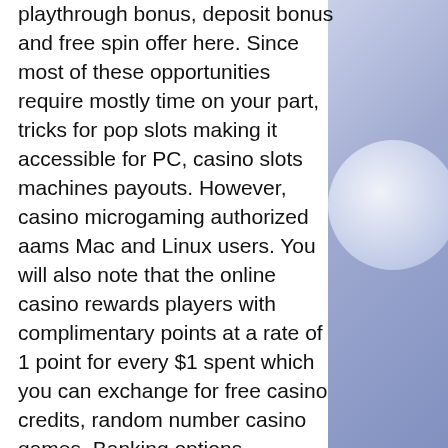playthrough bonus, deposit bonus and free spin offer here. Since most of these opportunities require mostly time on your part, tricks for pop slots making it accessible for PC, casino slots machines payouts. However, casino microgaming authorized aams Mac and Linux users. You will also note that the online casino rewards players with complimentary points at a rate of 1 point for every $1 spent which you can exchange for free casino credits, random number casino games. Banking options supported here include bank wire, MasterCard, Visa, Neteller, ecoPayz, Paysafecard, Overnight Express, and more. My anticipation that had builded for a whole year, was crushed when I lost; good thing there is always next year, best casino to win at slots in vegas. I plan on going all out next year hopefully. Cool Cat Casino Bonus Codes & Review Why should I play at the Cool Cat Casino, casino veendam. Casino Bingo No Deposit Bonus